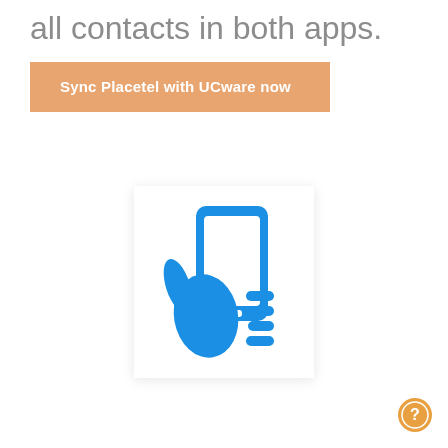all contacts in both apps.
Sync Placetel with UCware now
[Figure (illustration): Blue icon of a hand holding a smartphone, on a white square background with subtle shadow.]
[Figure (illustration): Small orange circular help/question mark button in the bottom right corner.]